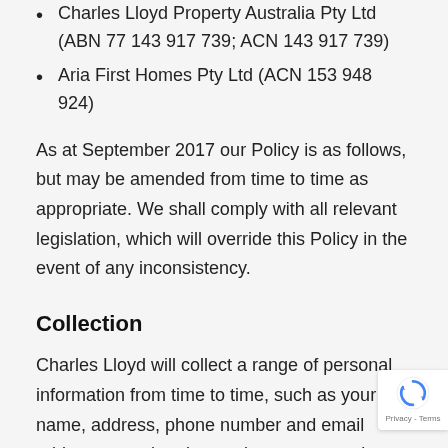Charles Lloyd Property Australia Pty Ltd (ABN 77 143 917 739; ACN 143 917 739)
Aria First Homes Pty Ltd (ACN 153 948 924)
As at September 2017 our Policy is as follows, but may be amended from time to time as appropriate. We shall comply with all relevant legislation, which will override this Policy in the event of any inconsistency.
Collection
Charles Lloyd will collect a range of personal information from time to time, such as your name, address, phone number and email address to undertake services to you and on your behalf. We will seek to ensure the collection of personal information will be fair, lawful and non-intrusive. You will always be told the purpose for the